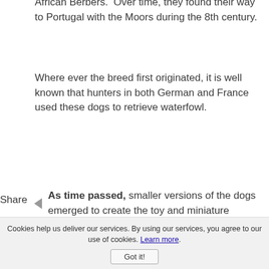African Berbers. Over time, they found their way to Portugal with the Moors during the 8th century.
Where ever the breed first originated, it is well known that hunters in both German and France used these dogs to retrieve waterfowl.
Share
As time passed, smaller versions of the dogs emerged to create the toy and miniature poodles.
Smaller versions of the standard size
Cookies help us deliver our services. By using our services, you agree to our use of cookies. Learn more.
Got it!